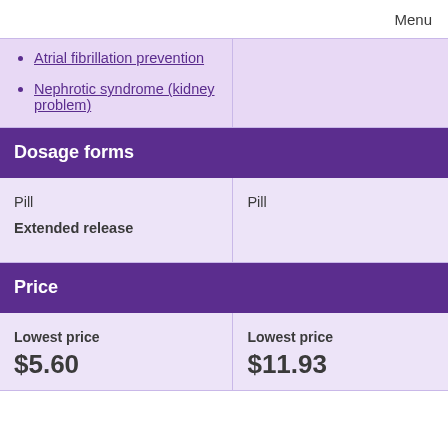Menu
Atrial fibrillation prevention
Nephrotic syndrome (kidney problem)
Dosage forms
Pill
Extended release
Pill
Price
Lowest price
$5.60
Lowest price
$11.93